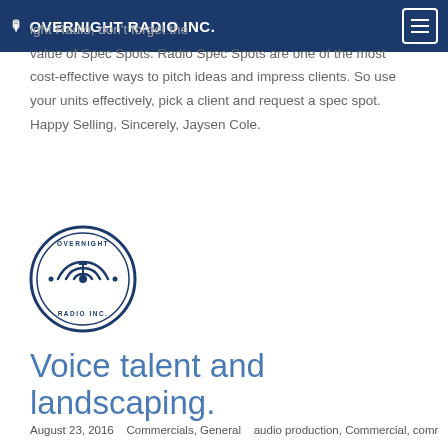🎙 OVERNIGHT RADIO INC.
value of Spec Spots. Radio Spec Spots are one of the most cost-effective ways to pitch ideas and impress clients. So use your units effectively, pick a client and request a spec spot. Happy Selling, Sincerely, Jaysen Cole.
[Figure (logo): Overnight Radio Inc. circular logo with radio tower icon in dark blue]
Voice talent and landscaping.
August 23, 2016    Commercials, General    audio production, Commercial, commercials, creative radio, production music, radio, radio account executives, radio production, radio sales,